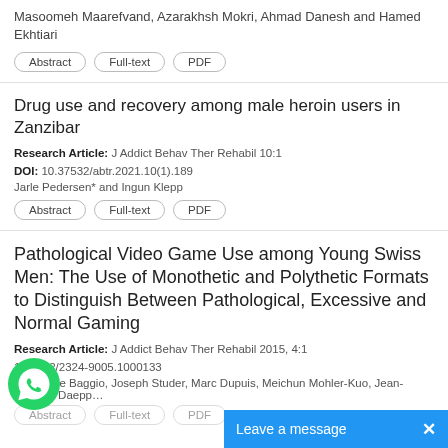Masoomeh Maarefvand, Azarakhsh Mokri, Ahmad Danesh and Hamed Ekhtiari
Abstract | Full-text | PDF
Drug use and recovery among male heroin users in Zanzibar
Research Article: J Addict Behav Ther Rehabil 10:1
DOI: 10.37532/abtr.2021.10(1).189
Jarle Pedersen* and Ingun Klepp
Abstract | Full-text | PDF
Pathological Video Game Use among Young Swiss Men: The Use of Monothetic and Polythetic Formats to Distinguish Between Pathological, Excessive and Normal Gaming
Research Article: J Addict Behav Ther Rehabil 2015, 4:1
DOI: 10.4172/2324-9005.1000133
Stephanie Baggio, Joseph Studer, Marc Dupuis, Meichun Mohler-Kuo, Jean-Bernard Daepp...
Abstract | Full-text | PDF